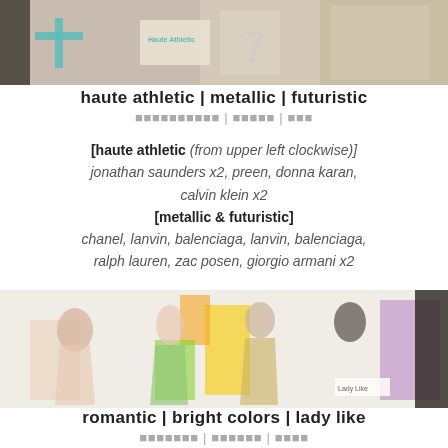[Figure (photo): Fashion mood board photo showing fabric swatches and magazine cutouts for haute athletic, metallic, futuristic themes]
haute athletic | metallic | futuristic
[haute athletic (from upper left clockwise)] jonathan saunders x2, preen, donna karan, calvin klein x2 [metallic & futuristic] chanel, lanvin, balenciaga, lanvin, balenciaga, ralph lauren, zac posen, giorgio armani x2
[Figure (photo): Fashion mood board photo with colorful runway fashion cutouts for romantic, bright colors, lady like themes]
romantic | bright colors | lady like